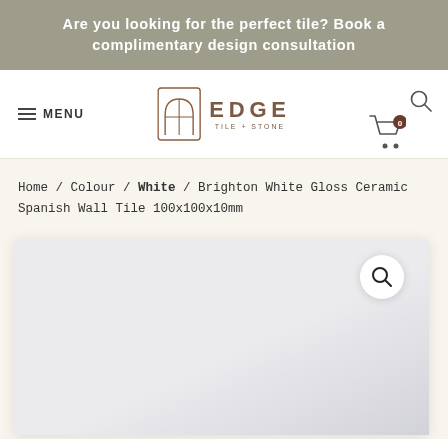Are you looking for the perfect tile? Book a complimentary design consultation
[Figure (logo): Edge Tile + Stone logo with arch icon and navigation bar including MENU, search icon, and cart with 0 items]
Home / Colour / White / Brighton White Gloss Ceramic Spanish Wall Tile 100x100x10mm
[Figure (photo): White gloss ceramic tile product photo with magnify button overlay]